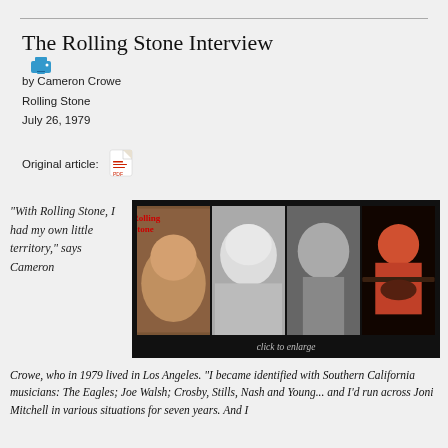The Rolling Stone Interview
by Cameron Crowe
Rolling Stone
July 26, 1979
Original article:
[Figure (photo): Four photos in a black background panel showing Joni Mitchell on a Rolling Stone magazine cover, a close-up portrait, a black-and-white performance shot, and a color concert photo with guitar. Caption: click to enlarge]
"With Rolling Stone, I had my own little territory," says Cameron Crowe, who in 1979 lived in Los Angeles. "I became identified with Southern California musicians: The Eagles; Joe Walsh; Crosby, Stills, Nash and Young... and I'd run across Joni Mitchell in various situations for seven years. And I